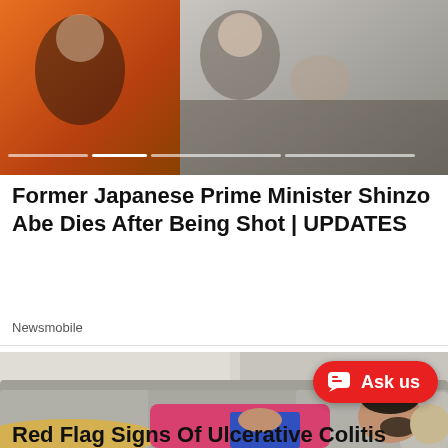[Figure (photo): News carousel image showing a person at top, with progress indicator dots at the bottom of the image]
Former Japanese Prime Minister Shinzo Abe Dies After Being Shot | UPDATES
Newsmobile
[Figure (photo): Photo of a man sleeping on a grey sofa, wearing a pink shirt and yellow pants, holding a blue tablet]
Red Flag Signs Of Ulcerative Colitis